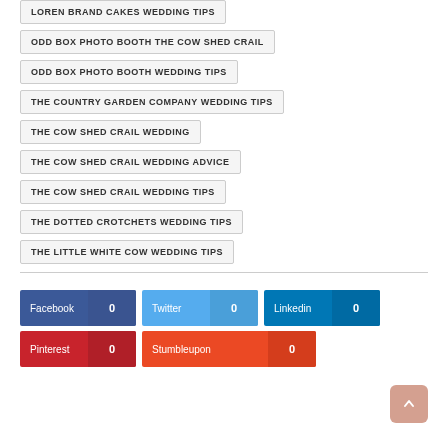LOREN BRAND CAKES WEDDING TIPS
ODD BOX PHOTO BOOTH THE COW SHED CRAIL
ODD BOX PHOTO BOOTH WEDDING TIPS
THE COUNTRY GARDEN COMPANY WEDDING TIPS
THE COW SHED CRAIL WEDDING
THE COW SHED CRAIL WEDDING ADVICE
THE COW SHED CRAIL WEDDING TIPS
THE DOTTED CROTCHETS WEDDING TIPS
THE LITTLE WHITE COW WEDDING TIPS
Facebook 0  Twitter 0  Linkedin 0  Pinterest 0  Stumbleupon 0